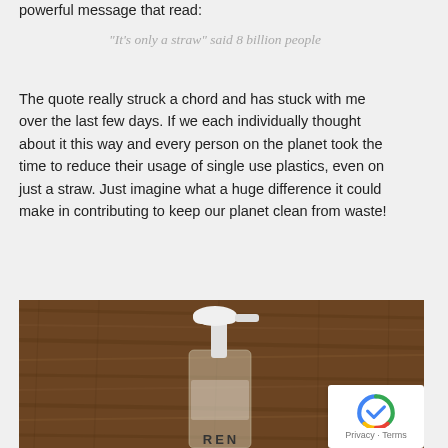powerful message that read:
"It's only a straw" said 8 billion people
The quote really struck a chord and has stuck with me over the last few days. If we each individually thought about it this way and every person on the planet took the time to reduce their usage of single use plastics, even on just a straw. Just imagine what a huge difference it could make in contributing to keep our planet clean from waste!
[Figure (photo): A pump bottle on a wooden surface, partially visible with 'REN' text at the bottom. A reCAPTCHA widget is overlaid in the lower right corner.]